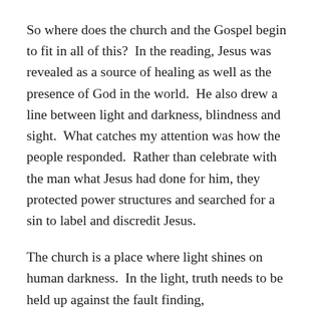So where does the church and the Gospel begin to fit in all of this?  In the reading, Jesus was revealed as a source of healing as well as the presence of God in the world.  He also drew a line between light and darkness, blindness and sight.  What catches my attention was how the people responded.  Rather than celebrate with the man what Jesus had done for him, they protected power structures and searched for a sin to label and discredit Jesus.
The church is a place where light shines on human darkness.  In the light, truth needs to be held up against the fault finding, disinformation and false conspiracies.  Truth needs to stand against ideology and politics.  Covid-19 is a virus that we need to work together as a